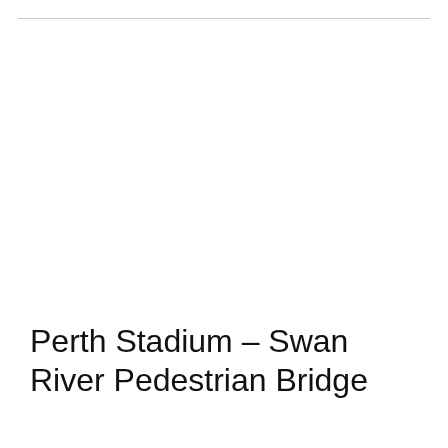Perth Stadium – Swan River Pedestrian Bridge